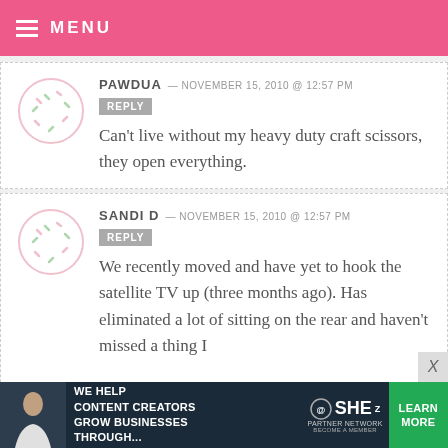MENU
PAWDUA — NOVEMBER 15, 2010 @ 12:57 PM
REPLY
Can't live without my heavy duty craft scissors, they open everything.
SANDI D — NOVEMBER 15, 2010 @ 12:57 PM
REPLY
We recently moved and have yet to hook the satellite TV up (three months ago). Has eliminated a lot of sitting on the rear and haven't missed a thing I
[Figure (infographic): Advertisement banner: WE HELP CONTENT CREATORS GROW BUSINESSES THROUGH... SHE PARTNER NETWORK BECOME A MEMBER. Learn More button.]